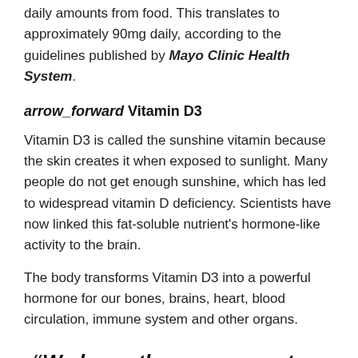daily amounts from food. This translates to approximately 90mg daily, according to the guidelines published by Mayo Clinic Health System.
arrow_forward Vitamin D3
Vitamin D3 is called the sunshine vitamin because the skin creates it when exposed to sunlight. Many people do not get enough sunshine, which has led to widespread vitamin D deficiency. Scientists have now linked this fat-soluble nutrient's hormone-like activity to the brain.
The body transforms Vitamin D3 into a powerful hormone for our bones, brains, heart, blood circulation, immune system and other organs.
“We know there are receptors for vitamin D throughout the